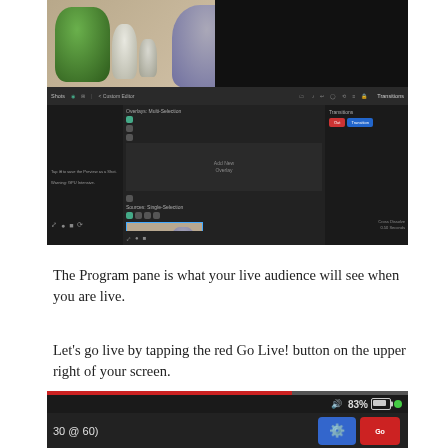[Figure (screenshot): Screenshot of a live streaming app (Streamlabs or similar) showing a Custom Editor with 3D printed figurines in the preview, source thumbnails, overlays panel, and transitions panel on a dark UI]
The Program pane is what your live audience will see when you are live.
Let's go live by tapping the red Go Live! button on the upper right of your screen.
[Figure (screenshot): Bottom portion of a mobile screen showing a progress/seek bar, volume icon, 83% battery indicator, time display showing '30 @ 60)', and Go Live button]